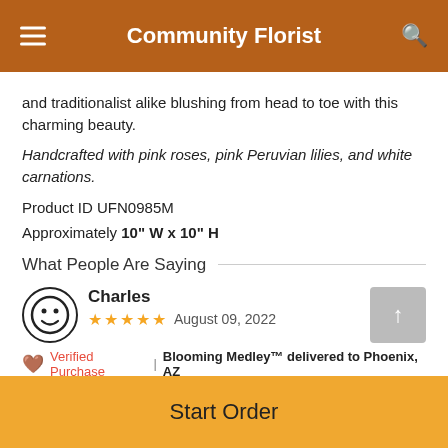Community Florist
and traditionalist alike blushing from head to toe with this charming beauty.
Handcrafted with pink roses, pink Peruvian lilies, and white carnations.
Product ID UFN0985M
Approximately 10" W x 10" H
What People Are Saying
Charles — ★★★★★ August 09, 2022
Verified Purchase | Blooming Medley™ delivered to Phoenix, AZ
Start Order